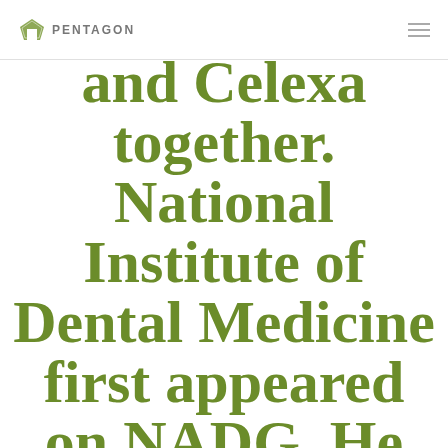PENTAGON
and Celexa together. National Institute of Dental Medicine first appeared on NADG. He earned his Diplomate Status with the Oregon Public